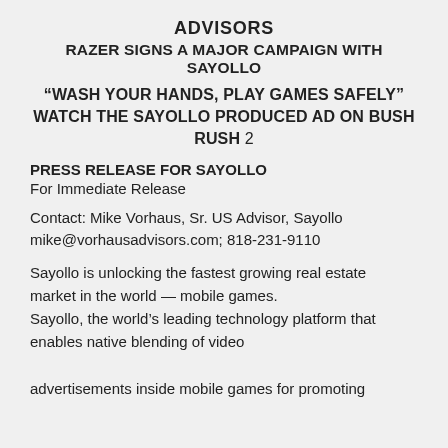ADVISORS
RAZER SIGNS A MAJOR CAMPAIGN WITH SAYOLLO
“WASH YOUR HANDS, PLAY GAMES SAFELY” WATCH THE SAYOLLO PRODUCED AD ON BUSH RUSH 2
PRESS RELEASE FOR SAYOLLO
For Immediate Release
Contact: Mike Vorhaus, Sr. US Advisor, Sayollo
mike@vorhausadvisors.com; 818-231-9110
Sayollo is unlocking the fastest growing real estate market in the world — mobile games.
Sayollo, the world’s leading technology platform that enables native blending of video advertisements inside mobile games for promoting